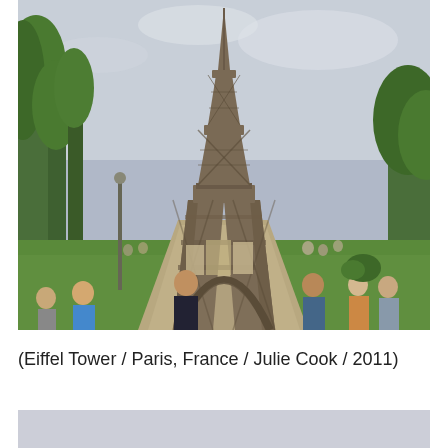[Figure (photo): Photograph of the Eiffel Tower in Paris, France. The tower is seen from ground level with trees on the left, green lawns, and tourists walking in the foreground. Overcast sky in the background.]
(Eiffel Tower / Paris, France / Julie Cook / 2011)
[Figure (photo): Partial view of a second photograph, mostly showing a light grey/blue sky, cropped at the bottom of the page.]